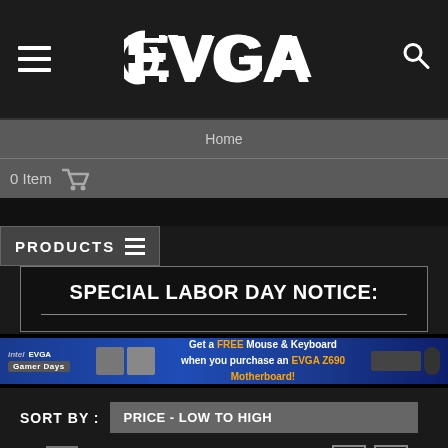EVGA
Home
0 Item
PRODUCTS
SPECIAL LABOR DAY NOTICE:
[Figure (infographic): Intel EVGA Gamer Days banner advertising a FREE Mouse & Keyboard when you purchase an EVGA Z690 Motherboard]
SORT BY : PRICE - LOW TO HIGH
IN STOCK